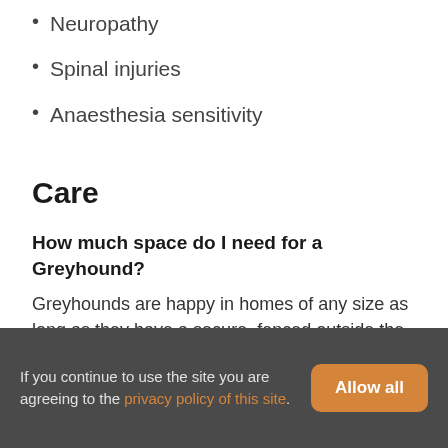Neuropathy
Spinal injuries
Anaesthesia sensitivity
Care
How much space do I need for a Greyhound?
Greyhounds are happy in homes of any size as long as they have a secure, fenced outside the area to
If you continue to use the site you are agreeing to the privacy policy of this site.